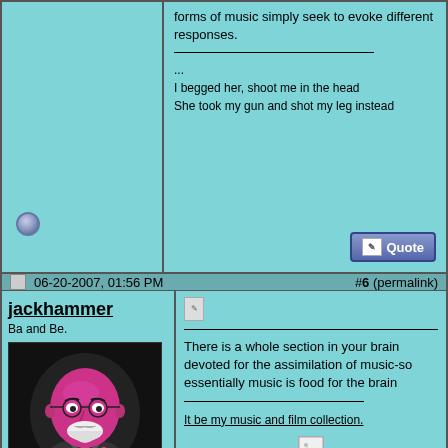forms of music simply seek to evoke different responses.
...
I begged her, shoot me in the head
She took my gun and shot my leg instead
06-20-2007, 01:56 PM  #6 (permalink)
jackhammer
Ba and Be.
[Figure (illustration): Pink Freud illustration - Freud figure rendered in pink tones holding a cigarette, with 'Pink Freud' text in pink on dark background]
There is a whole section in your brain devoted for the assimilation of music-so essentially music is food for the brain
It be my music and film collection.
“A cynic by experience, a romantic by inclination and now a hero by necessity.”